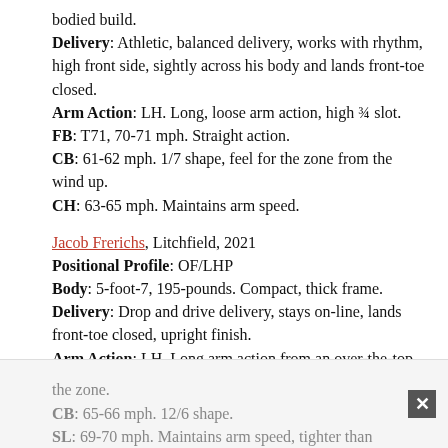bodied build. Delivery: Athletic, balanced delivery, works with rhythm, high front side, sightly across his body and lands front-toe closed. Arm Action: LH. Long, loose arm action, high ¾ slot. FB: T71, 70-71 mph. Straight action. CB: 61-62 mph. 1/7 shape, feel for the zone from the wind up. CH: 63-65 mph. Maintains arm speed.
Jacob Frerichs, Litchfield, 2021 Positional Profile: OF/LHP Body: 5-foot-7, 195-pounds. Compact, thick frame. Delivery: Drop and drive delivery, stays on-line, lands front-toe closed, upright finish. Arm Action: LH. Long arm action from an over-the-top slot. FB: T76, 73- 75 mph. Plays straight, misses are down in the zone. CB: 65-66 mph. 12/6 shape. SL: 69-70 mph. Maintains arm speed, tighter than